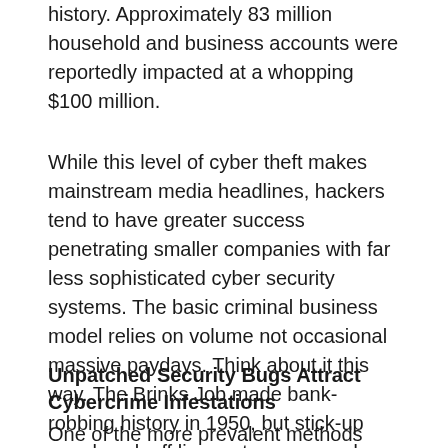history. Approximately 83 million household and business accounts were reportedly impacted at a whopping $100 million.
While this level of cyber theft makes mainstream media headlines, hackers tend to have greater success penetrating smaller companies with far less sophisticated cyber security systems. The basic criminal business model relies on volume not occasional massive paydays. Think about it this way. The Brinks Job made bank-robbing history in 1950, but stick-up men knock off liquor stores every day.
Unpatched Security Bugs Attract Cybercrime Infestations
One of the more prevalent methods used by a hacker is to infiltrate your system in plain sight